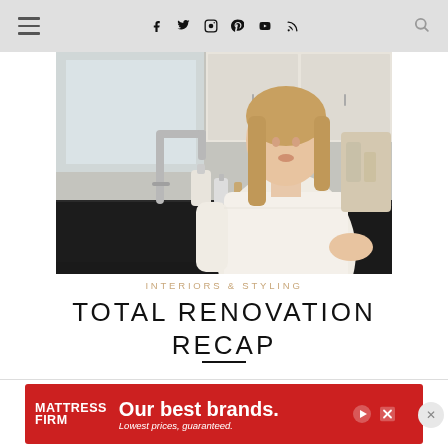Navigation bar with hamburger menu, social icons (Facebook, Twitter, Instagram, Pinterest, YouTube, RSS), and search icon
[Figure (photo): Woman with long blonde hair wearing a white long-sleeve top, standing in a kitchen with a chrome gooseneck faucet, dark countertop, white cabinets, and a bottle of soap on the counter.]
INTERIORS & STYLING
TOTAL RENOVATION RECAP
Today we closed on a new house to
[Figure (infographic): Mattress Firm advertisement banner: red background, Mattress Firm logo on left, text 'Our best brands. Lowest prices, guaranteed.' with play and close buttons.]